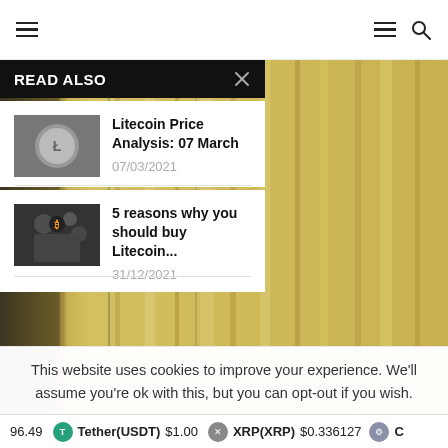Navigation bar with hamburger menu and search icon
[Figure (photo): Golden/yellow draped curtain fabric background filling right side of page]
READ ALSO
[Figure (photo): Litecoin coin on dark gravel surface thumbnail]
Litecoin Price Analysis: 07 March
07/03/2021
[Figure (photo): Bitcoin/cryptocurrency tokens held in hands with light effect thumbnail]
5 reasons why you should buy Litecoin...
31/12/2021
This website uses cookies to improve your experience. We'll assume you're ok with this, but you can opt-out if you wish.
96.49  Tether(USDT) $1.00  XRP(XRP) $0.336127  C